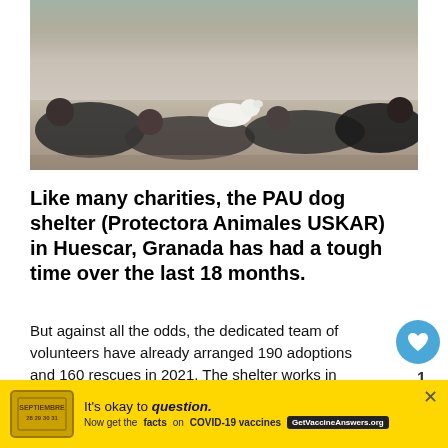[Figure (photo): Group photo of people lying on the ground with a white dog outdoors]
Like many charities, the PAU dog shelter (Protectora Animales USKAR) in Huescar, Granada has had a tough time over the last 18 months.
But against all the odds, the dedicated team of volunteers have already arranged 190 adoptions and 160 rescues in 2021. The shelter works in collaboration with other centres including Mar Patrulla Canina de Madrid.
The shelter could not operate without the team that it now...
[Figure (infographic): What's Next panel with thumbnail image and text: Animal Protection...]
[Figure (infographic): Advertisement banner: It's okay to question. Now get the facts on COVID-19 vaccines. GetVaccineAnswers.org]